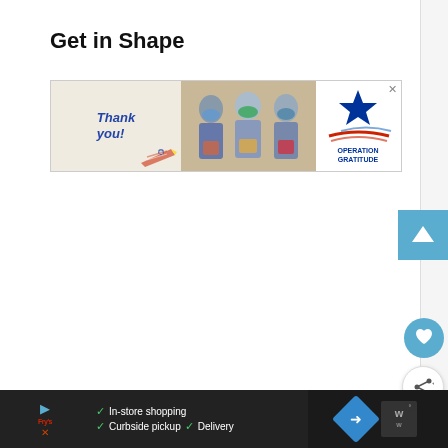Get in Shape
[Figure (photo): Advertisement banner for Operation Gratitude showing a 'Thank you!' decorated pencil graphic on the left, healthcare workers in masks holding cards in the center, and the Operation Gratitude logo with star and swoosh on the right]
[Figure (screenshot): Bottom advertisement bar showing a store (Fry's) ad with In-store shopping, Curbside pickup, and Delivery features, a blue navigation diamond icon, and a Yelp-like rating icon]